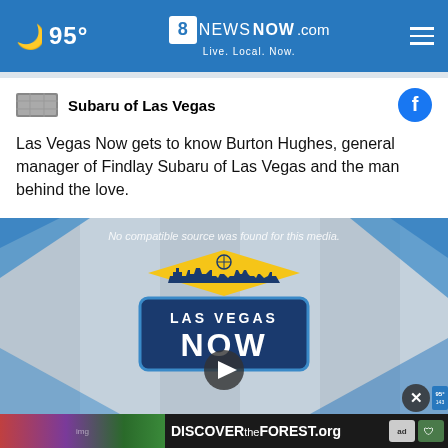95° | 8NewsNow.com Live. Local. Now.
Subaru of Las Vegas
Las Vegas Now gets to know Burton Hughes, general manager of Findlay Subaru of Las Vegas and the man behind the love.
[Figure (screenshot): Las Vegas Now video player showing the Las Vegas Now logo with a play button. Text overlay: No compatible source was found for this media.]
DISCOVERtheFOREST.org
Fi... Special Offer: 2.9% financing for well qualified...